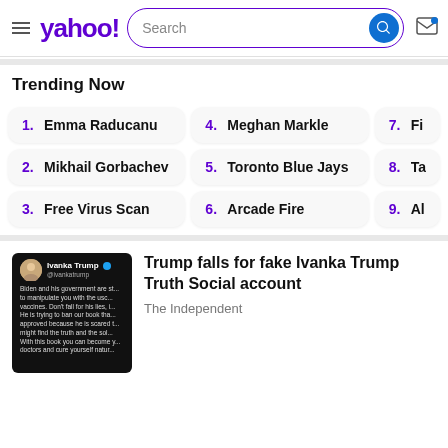yahoo! Search
Trending Now
1. Emma Raducanu
2. Mikhail Gorbachev
3. Free Virus Scan
4. Meghan Markle
5. Toronto Blue Jays
6. Arcade Fire
7. Fi...
8. Ta...
9. Al...
[Figure (screenshot): Ivanka Trump Twitter/social media post screenshot on dark background]
Trump falls for fake Ivanka Trump Truth Social account
The Independent